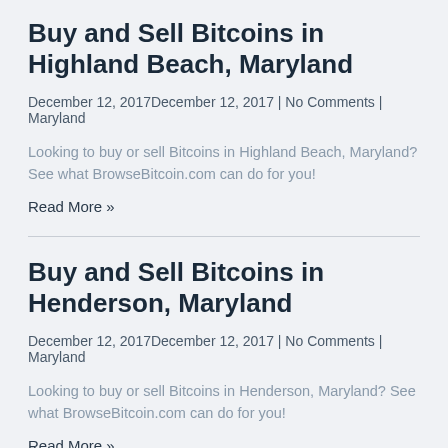Buy and Sell Bitcoins in Highland Beach, Maryland
December 12, 2017December 12, 2017 | No Comments | Maryland
Looking to buy or sell Bitcoins in Highland Beach, Maryland? See what BrowseBitcoin.com can do for you!
Read More »
Buy and Sell Bitcoins in Henderson, Maryland
December 12, 2017December 12, 2017 | No Comments | Maryland
Looking to buy or sell Bitcoins in Henderson, Maryland? See what BrowseBitcoin.com can do for you!
Read More »